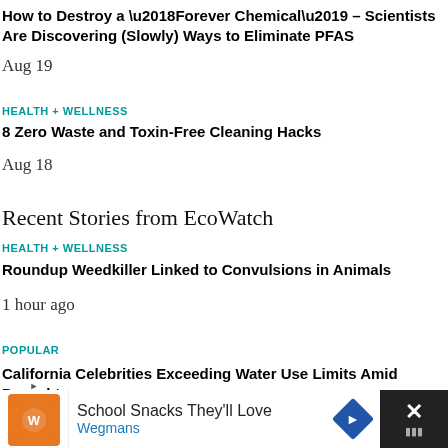How to Destroy a ‘Forever Chemical’ – Scientists Are Discovering (Slowly) Ways to Eliminate PFAS
Aug 19
HEALTH + WELLNESS
8 Zero Waste and Toxin-Free Cleaning Hacks
Aug 18
Recent Stories from EcoWatch
HEALTH + WELLNESS
Roundup Weedkiller Linked to Convulsions in Animals
1 hour ago
POPULAR
California Celebrities Exceeding Water Use Limits Amid Drought
5 ho
[Figure (other): Advertisement banner for Wegmans School Snacks with orange logo, navigation arrow icon, and close button]